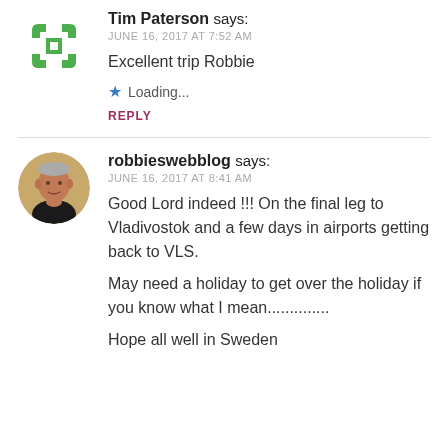[Figure (illustration): Circular avatar icon with green geometric/puzzle piece pattern on white background for user Tim Paterson]
Tim Paterson says:
JUNE 16, 2017 AT 7:52 AM
Excellent trip Robbie
★ Loading...
REPLY
[Figure (photo): Circular profile photo of a middle-aged man with grey hair wearing a dark shirt, for user robbieswebblog]
robbieswebblog says:
JUNE 16, 2017 AT 8:41 AM
Good Lord indeed !!! On the final leg to Vladivostok and a few days in airports getting back to VLS.
May need a holiday to get over the holiday if you know what I mean..............
Hope all well in Sweden